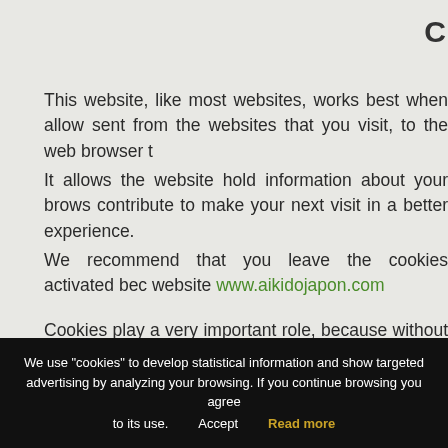C
This website, like most websites, works best when allow sent from the websites that you visit, to the web browser t
It allows the website hold information about your brows contribute to make your next visit in a better experience.
We recommend that you leave the cookies activated bec website www.aikidojapon.com
Cookies play a very important role, because without them
Cookies at this website are also used to personalize co traffic. We also share information about your use of our we
We use "cookies" to develop statistical information and show targeted advertising by analyzing your browsing. If you continue browsing you agree to its use.   Accept   Read more